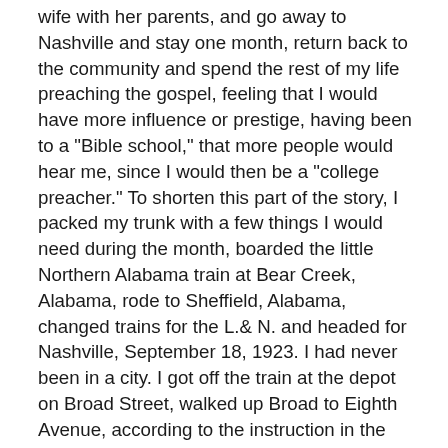wife with her parents, and go away to Nashville and stay one month, return back to the community and spend the rest of my life preaching the gospel, feeling that I would have more influence or prestige, having been to a "Bible school," that more people would hear me, since I would then be a "college preacher." To shorten this part of the story, I packed my trunk with a few things I would need during the month, boarded the little Northern Alabama train at Bear Creek, Alabama, rode to Sheffield, Alabama, changed trains for the L.& N. and headed for Nashville, September 18, 1923. I had never been in a city. I got off the train at the depot on Broad Street, walked up Broad to Eighth Avenue, according to the instruction in the college catalogue, which had been sent to me. I was instructed to board the Glendale street car, but I boarded the first car that came along, which lacked a mile or so going to Caldwell Lane where I was to get off. The conductor was kind. When he got to the end of his line, he looked at me and said that he was not supposed to do it, but that he would give me a transfer to the Glendale car, and that I should wait there until the next car arrived. I boarded the next car and got off at Caldwell lane. I walked up that lane till I came to Granny White Pike. There I turned in onto the campus of David Lipscomb College, I walked by the home of sister David Lipscomb, who was then